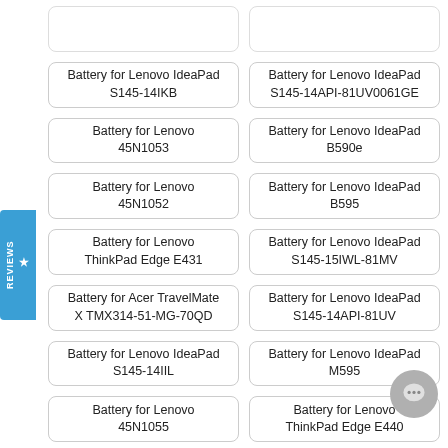Battery for Lenovo IdeaPad S145-14IKB
Battery for Lenovo IdeaPad S145-14API-81UV0061GE
Battery for Lenovo 45N1053
Battery for Lenovo IdeaPad B590e
Battery for Lenovo 45N1052
Battery for Lenovo IdeaPad B595
Battery for Lenovo ThinkPad Edge E431
Battery for Lenovo IdeaPad S145-15IWL-81MV
Battery for Acer TravelMate X TMX314-51-MG-70QD
Battery for Lenovo IdeaPad S145-14API-81UV
Battery for Lenovo IdeaPad S145-14IIL
Battery for Lenovo IdeaPad M595
Battery for Lenovo 45N1055
Battery for Lenovo ThinkPad Edge E440